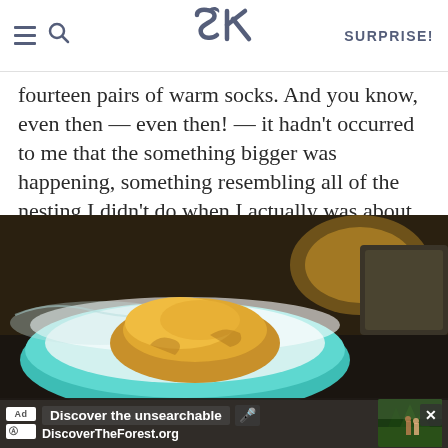SK | SURPRISE!
fourteen pairs of warm socks. And you know, even then — even then! — it hadn't occurred to me that the something bigger was happening, something resembling all of the nesting I didn't do when I actually was about to have a baby (instead, I baked brownies).
[Figure (photo): A teal ceramic baking dish containing a mound of golden-yellow dough or batter, with a dark baking pan visible in the blurred background. An advertisement bar at the bottom reads 'Discover the unsearchable / DiscoverTheForest.org' with a thumbnail of people hiking in a forest.]